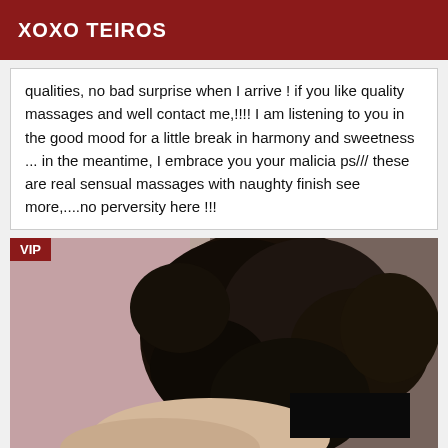XOXO TEIROS
qualities, no bad surprise when I arrive ! if you like quality massages and well contact me,!!!! I am listening to you in the good mood for a little break in harmony and sweetness ... in the meantime, I embrace you your malicia ps/// these are real sensual massages with naughty finish see more,....no perversity here !!!
[Figure (photo): A person with dark curly hair, viewed from behind/side, in a dimly lit room with pink/beige background. VIP badge in top left corner.]